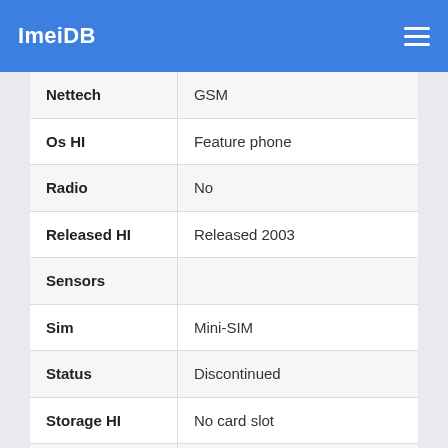ImeiDB
| Property | Value |
| --- | --- |
| Nettech | GSM |
| Os HI | Feature phone |
| Radio | No |
| Released HI | Released 2003 |
| Sensors |  |
| Sim | Mini-SIM |
| Status | Discontinued |
| Storage HI | No card slot |
| Usb |  |
| Videopixels HI | No video recorder |
| Weight | 75 g (2.65 oz) |